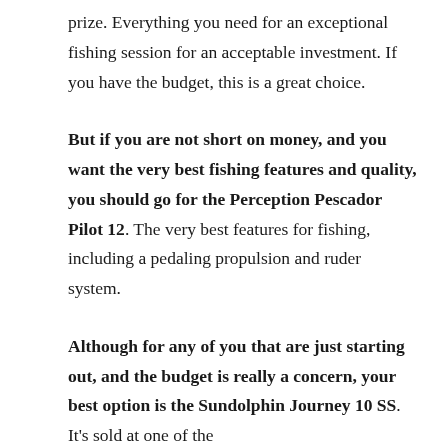prize. Everything you need for an exceptional fishing session for an acceptable investment. If you have the budget, this is a great choice.
But if you are not short on money, and you want the very best fishing features and quality, you should go for the Perception Pescador Pilot 12. The very best features for fishing, including a pedaling propulsion and ruder system.
Although for any of you that are just starting out, and the budget is really a concern, your best option is the Sundolphin Journey 10 SS. It's sold at one of the